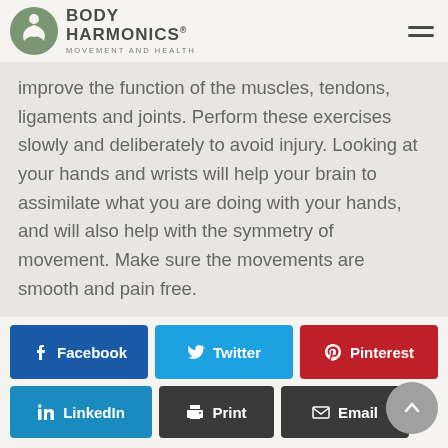BODY HARMONICS MOVEMENT AND HEALTH
improve the function of the muscles, tendons, ligaments and joints. Perform these exercises slowly and deliberately to avoid injury. Looking at your hands and wrists will help your brain to assimilate what you are doing with your hands, and will also help with the symmetry of movement. Make sure the movements are smooth and pain free.